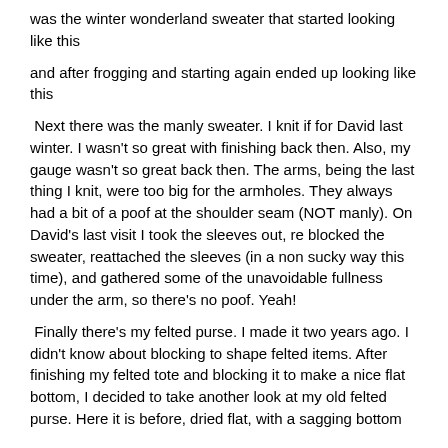was the winter wonderland sweater that started looking like this
and after frogging and starting again ended up looking like this
Next there was the manly sweater. I knit if for David last winter. I wasn't so great with finishing back then. Also, my gauge wasn't so great back then. The arms, being the last thing I knit, were too big for the armholes. They always had a bit of a poof at the shoulder seam (NOT manly). On David's last visit I took the sleeves out, re blocked the sweater, reattached the sleeves (in a non sucky way this time), and gathered some of the unavoidable fullness under the arm, so there's no poof. Yeah!
Finally there's my felted purse. I made it two years ago. I didn't know about blocking to shape felted items. After finishing my felted tote and blocking it to make a nice flat bottom, I decided to take another look at my old felted purse. Here it is before, dried flat, with a sagging bottom